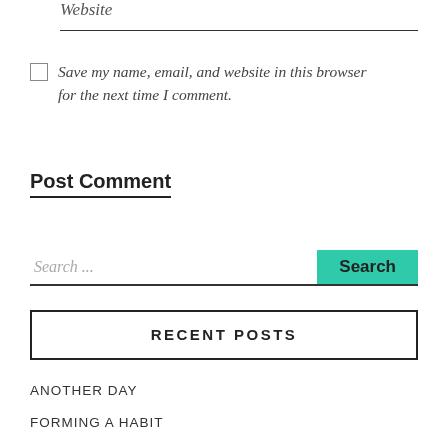Website
Save my name, email, and website in this browser for the next time I comment.
Post Comment
Search ...
RECENT POSTS
ANOTHER DAY
FORMING A HABIT